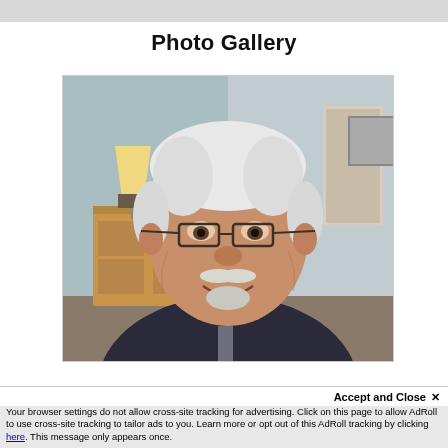Photo Gallery
[Figure (photo): Close-up selfie of an older man with white/grey hair, glasses, mustache and goatee, wearing a dark jacket, smiling. Background shows a bedroom with a lamp, dresser, and light blue walls.]
Accept and Close ×
Your browser settings do not allow cross-site tracking for advertising. Click on this page to allow AdRoll to use cross-site tracking to tailor ads to you. Learn more or opt out of this AdRoll tracking by clicking here. This message only appears once.